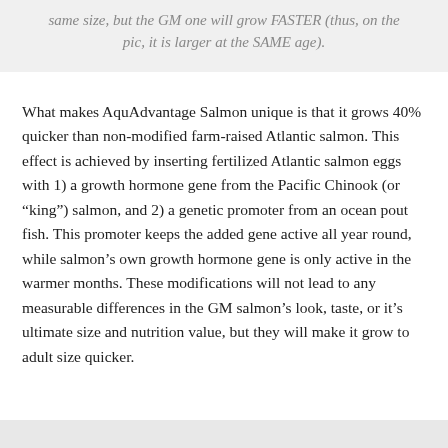same size, but the GM one will grow FASTER (thus, on the pic, it is larger at the SAME age).
What makes AquAdvantage Salmon unique is that it grows 40% quicker than non-modified farm-raised Atlantic salmon. This effect is achieved by inserting fertilized Atlantic salmon eggs with 1) a growth hormone gene from the Pacific Chinook (or “king”) salmon, and 2) a genetic promoter from an ocean pout fish. This promoter keeps the added gene active all year round, while salmon’s own growth hormone gene is only active in the warmer months. These modifications will not lead to any measurable differences in the GM salmon’s look, taste, or it’s ultimate size and nutrition value, but they will make it grow to adult size quicker.